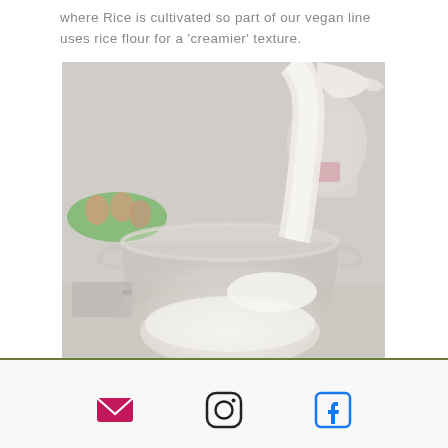where Rice is cultivated so part of our vegan line uses rice flour for a 'creamier' texture.
[Figure (photo): A glass mixing bowl with white flour/powder being filled by a stream of milk poured from a jug. In the background are eggs in a green tray and kitchen equipment on a marble countertop.]
Social media icons: email, Instagram, Facebook